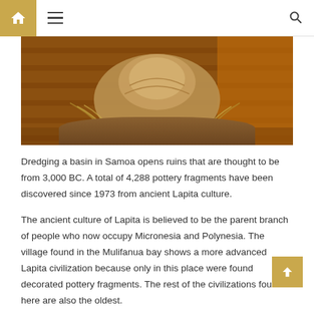Navigation bar with home, menu, and search icons
[Figure (photo): Close-up photo of what appears to be ancient pottery or ceramic artifact resting on wooden planks, warm amber and brown tones]
Dredging a basin in Samoa opens ruins that are thought to be from 3,000 BC. A total of 4,288 pottery fragments have been discovered since 1973 from ancient Lapita culture.
The ancient culture of Lapita is believed to be the parent branch of people who now occupy Micronesia and Polynesia. The village found in the Mulifanua bay shows a more advanced Lapita civilization because only in this place were found decorated pottery fragments. The rest of the civilizations found here are also the oldest.
Mahabalipuram, India